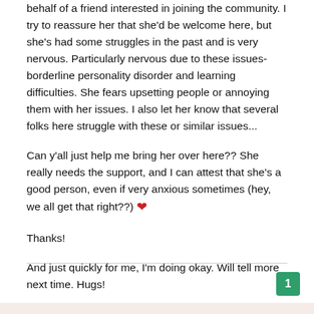behalf of a friend interested in joining the community. I try to reassure her that she'd be welcome here, but she's had some struggles in the past and is very nervous. Particularly nervous due to these issues- borderline personality disorder and learning difficulties. She fears upsetting people or annoying them with her issues. I also let her know that several folks here struggle with these or similar issues...
Can y'all just help me bring her over here?? She really needs the support, and I can attest that she's a good person, even if very anxious sometimes (hey, we all get that right??) ❤
Thanks!
And just quickly for me, I'm doing okay. Will tell more next time. Hugs!